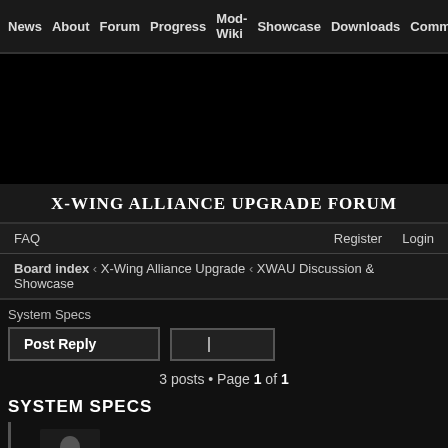News  About  Forum  Progress  Mod-Wiki  Showcase  Downloads  Community
[Figure (other): Dark banner/advertisement area]
X-WING ALLIANCE UPGRADE FORUM
FAQ    Register  Login
Board index  ‹  X-Wing Alliance Upgrade  ‹  XWAU Discussion & Showcase
System Specs
Post Reply   [search box]
3 posts • Page 1 of 1
SYSTEM SPECS
PhoenixBerkana